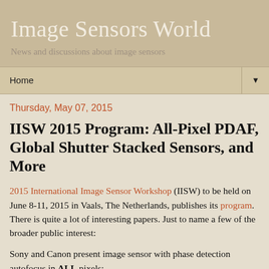Image Sensors World
News and discussions about image sensors
Home
Thursday, May 07, 2015
IISW 2015 Program: All-Pixel PDAF, Global Shutter Stacked Sensors, and More
2015 International Image Sensor Workshop (IISW) to be held on June 8-11, 2015 in Vaals, The Netherlands, publishes its program. There is quite a lot of interesting papers. Just to name a few of the broader public interest:
Sony and Canon present image sensor with phase detection autofocus in ALL pixels: